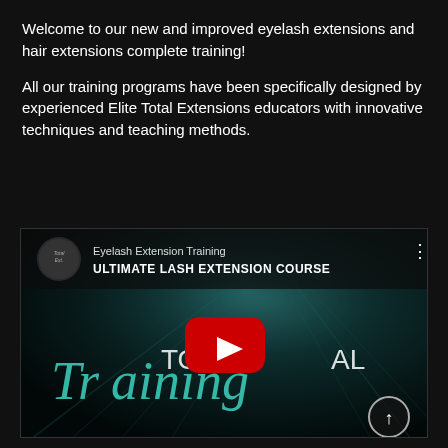Welcome to our new and improved eyelash extensions and hair extensions complete training!
All our training programs have been specifically designed by experienced Elite Total Extensions educators with innovative techniques and teaching methods.
[Figure (screenshot): YouTube video thumbnail for 'Eyelash Extension Training - ULTIMATE LASH EXTENSION COURSE' with a YouTube play button overlay, teal cursive 'Total Training' text on a dark teal background with light rays, channel icon top left, and a scroll-up button bottom right.]